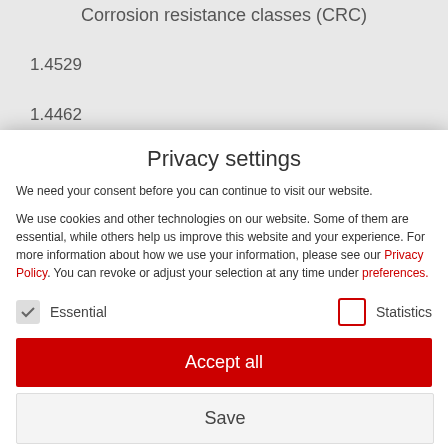Corrosion resistance classes (CRC)
1.4529
1.4462
Privacy settings
We need your consent before you can continue to visit our website.
We use cookies and other technologies on our website. Some of them are essential, while others help us improve this website and your experience. For more information about how we use your information, please see our Privacy Policy. You can revoke or adjust your selection at any time under preferences.
Essential
Statistics
Accept all
Save
Individual privacy settings